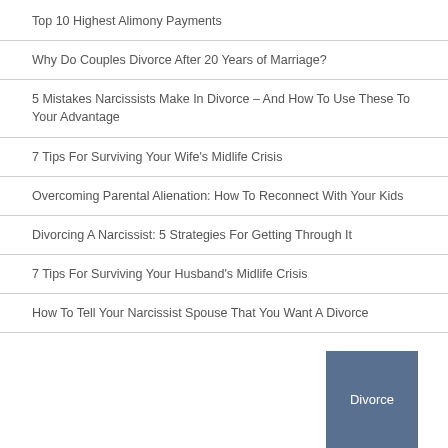Top 10 Highest Alimony Payments
Why Do Couples Divorce After 20 Years of Marriage?
5 Mistakes Narcissists Make In Divorce – And How To Use These To Your Advantage
7 Tips For Surviving Your Wife's Midlife Crisis
Overcoming Parental Alienation: How To Reconnect With Your Kids
Divorcing A Narcissist: 5 Strategies For Getting Through It
7 Tips For Surviving Your Husband's Midlife Crisis
How To Tell Your Narcissist Spouse That You Want A Divorce